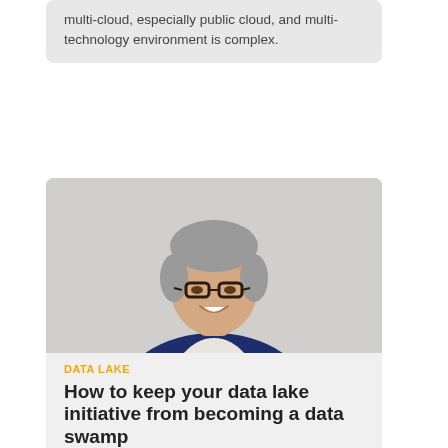multi-cloud, especially public cloud, and multi-technology environment is complex.
[Figure (photo): Professional headshot of a middle-aged man with grey hair wearing glasses and a navy suit jacket over a white shirt, smiling at the camera against a light grey background.]
DATA LAKE
How to keep your data lake initiative from becoming a data swamp
Enterprises can utilise data lakes to increase agile data delivery; however, they can't reap those benefits without